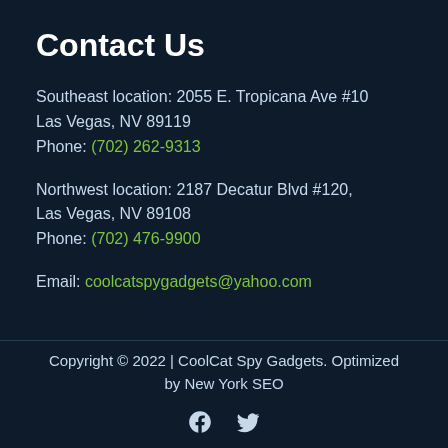Contact Us
Southeast location: 2055 E. Tropicana Ave #10
Las Vegas, NV 89119
Phone: (702) 262-9313
Northwest location: 2187 Decatur Blvd #120,
Las Vegas, NV 89108
Phone: (702) 476-9900
Email: coolcatspygadgets@yahoo.com
Copyright © 2022 | CoolCat Spy Gadgets. Optimized by New York SEO